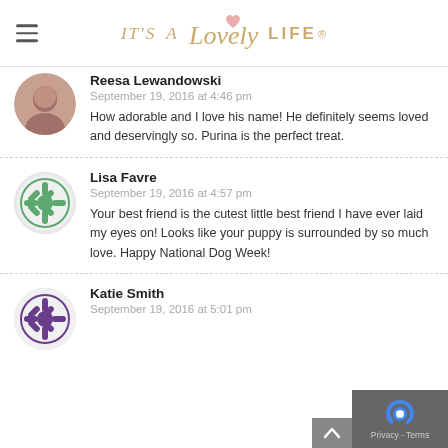IT'S A Lovely LIFE
Reesa Lewandowski
September 19, 2016 at 4:46 pm
How adorable and I love his name! He definitely seems loved and deservingly so. Purina is the perfect treat.
Lisa Favre
September 19, 2016 at 4:57 pm
Your best friend is the cutest little best friend I have ever laid my eyes on! Looks like your puppy is surrounded by so much love. Happy National Dog Week!
Katie Smith
September 19, 2016 at 5:01 pm